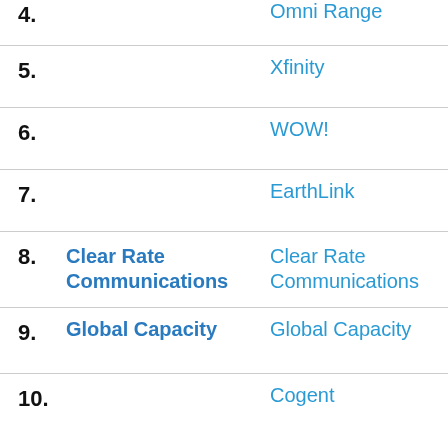4. Omni Range
5. Xfinity
6. WOW!
7. EarthLink
8. Clear Rate Communications — Clear Rate Communications
9. Global Capacity — Global Capacity
10. Cogent